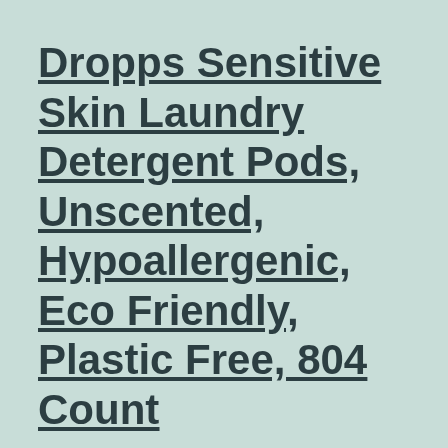Dropps Sensitive Skin Laundry Detergent Pods, Unscented, Hypoallergenic, Eco Friendly, Plastic Free, 804 Count
Price: [price_with_discount](as of [price_update_date] – Details) [ad_1] dropps